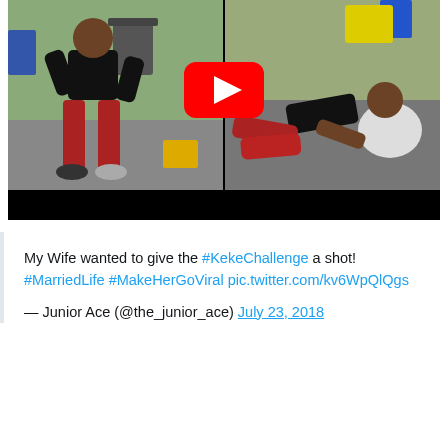[Figure (screenshot): A YouTube video thumbnail showing a split-screen of a person in red pants dancing/falling on asphalt. Left panel shows person standing wide-legged, right panel shows person fallen on ground. A red YouTube play button is overlaid in the center.]
My Wife wanted to give the #KekeChallenge a shot! #MarriedLife #MakeHerGoViral pic.twitter.com/kv6WpQlQgs
— Junior Ace (@the_junior_ace) July 23, 2018